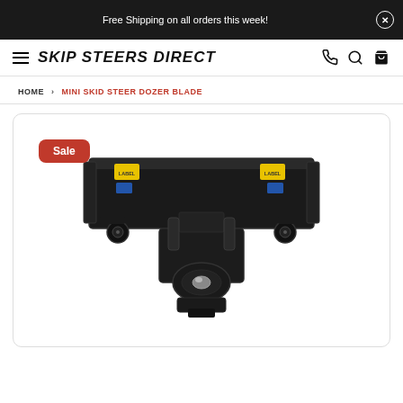Free Shipping on all orders this week!
SKIP STEERS DIRECT
HOME > MINI SKID STEER DOZER BLADE
[Figure (photo): Mini skid steer dozer blade product image, black metal blade attachment with yellow labels, shown from rear angle with casters and mounting bracket]
Sale